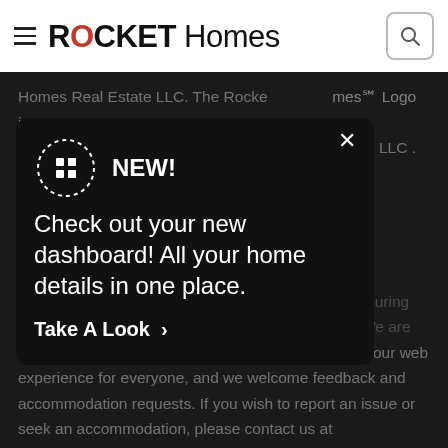ROCKET Homes
Homes Real Estate LLC. The Rocket Homes℠ Logo is a service mark licensed to Rocket Homes Real Estate LLC. ...fully supports the principles of the Fair...
NEW! Check out your new dashboard! All your home details in one place.
Take A Look >
Rocket Homes Real Estate LLC is committed to ensuring digital accessibility for individuals with disabilities. We are continuously working to improve the accessibility of our web experience for everyone, and we welcome feedback and accommodation requests. If you wish to report an issue or seek an accommodation, please contact us at help@rockethomes.com.
New York: Standardized Operating Procedure for Purchasers of Real Estate Pursuant to Real Property Law 442-H
TREC: Information about brokerage services, Consumer